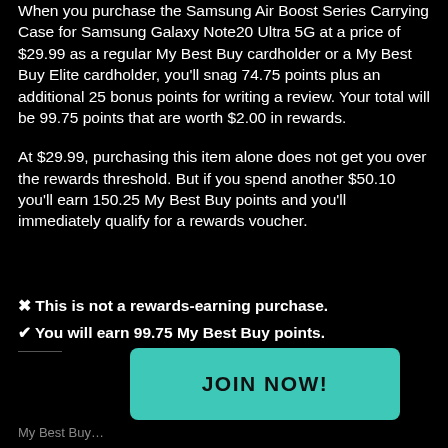When you purchase the Samsung Air Boost Series Carrying Case for Samsung Galaxy Note20 Ultra 5G at a price of $29.99 as a regular My Best Buy cardholder or a My Best Buy Elite cardholder, you'll snag 74.75 points plus an additional 25 bonus points for writing a review. Your total will be 99.75 points that are worth $2.00 in rewards.
At $29.99, purchasing this item alone does not get you over the rewards threshold. But if you spend another $50.10 you'll earn 150.25 My Best Buy points and you'll immediately qualify for a rewards voucher.
✖ This is not a rewards-earning purchase.
✔ You will earn 99.75 My Best Buy points.
My Best Buy...